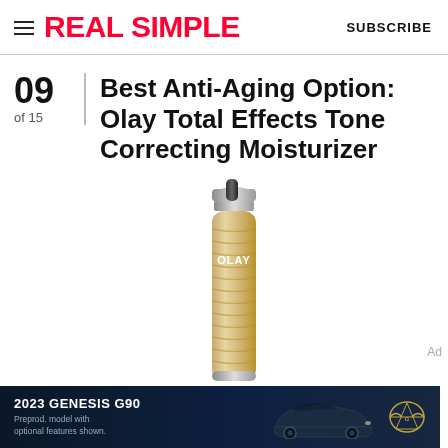REAL SIMPLE   SUBSCRIBE
09 of 15
Best Anti-Aging Option: Olay Total Effects Tone Correcting Moisturizer
[Figure (photo): Olay Total Effects Tone Correcting Moisturizer bottle — a tall slim pump bottle with gold/cream coloring and silver pump top, labeled OLAY]
[Figure (photo): Ad banner: 2023 Genesis G90 car advertisement with dark navy background, car image, Genesis logo, text: '2023 GENESIS G90', 'Preprod. model with optional features shown.']